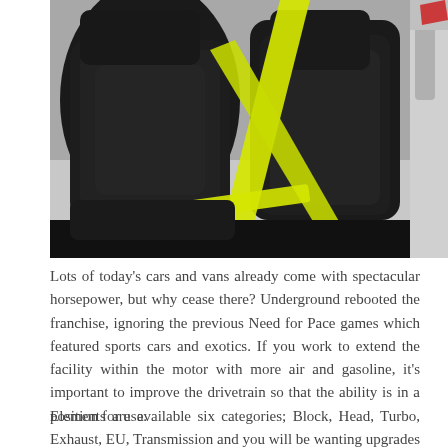[Figure (photo): Interior of a car showing black leather seats with a bright yellow/neon harness or strap crossing diagonally across the seat and door frame area.]
Lots of today's cars and vans already come with spectacular horsepower, but why cease there? Underground rebooted the franchise, ignoring the previous Need for Pace games which featured sports cars and exotics. If you work to extend the facility within the motor with more air and gasoline, it's important to improve the drivetrain so that the ability is in a position for use.
Elements are available six categories; Block, Head, Turbo, Exhaust, EU, Transmission and you will be wanting upgrades